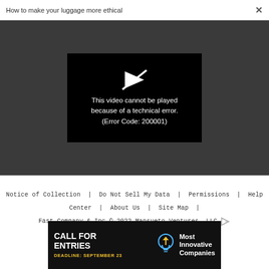How to make your luggage more ethical  ×
[Figure (screenshot): Video player with black background showing error message: 'This video cannot be played because of a technical error. (Error Code: 200001)' with a play icon crossed out above the text.]
Notice of Collection  |  Do Not Sell My Data  |  Permissions  |  Help Center  |  About Us  |  Site Map  |  Fast Company & Inc © 2022 Mansueto Ventures, LLC
[Figure (infographic): Advertisement banner: CALL FOR ENTRIES, DEADLINE: SEPTEMBER 23, with lightbulb icon, Most Innovative Companies]